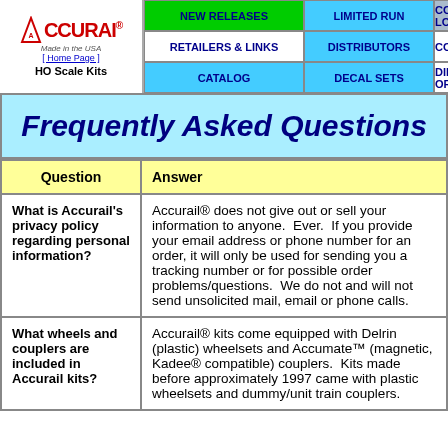Accurail - HO Scale Kits - Navigation: NEW RELEASES, LIMITED RUN, COAL LOADS, RETAILERS & LINKS, DISTRIBUTORS, COUPLERS, CATALOG, DECAL SETS, DIRECT ORDER
Frequently Asked Questions
| Question | Answer |
| --- | --- |
| What is Accurail's privacy policy regarding personal information? | Accurail® does not give out or sell your information to anyone. Ever. If you provide your email address or phone number for an order, it will only be used for sending you a tracking number or for possible order problems/questions. We do not and will not send unsolicited mail, email or phone calls. |
| What wheels and couplers are included in Accurail kits? | Accurail® kits come equipped with Delrin (plastic) wheelsets and Accumate™ (magnetic, Kadee® compatible) couplers. Kits made before approximately 1997 came with plastic wheelsets and dummy/unit train couplers. |